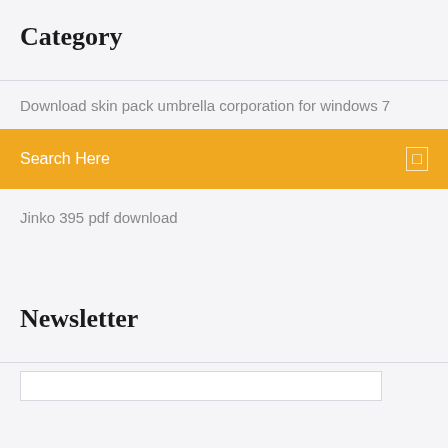Category
Download skin pack umbrella corporation for windows 7
Search Here
Jinko 395 pdf download
Newsletter